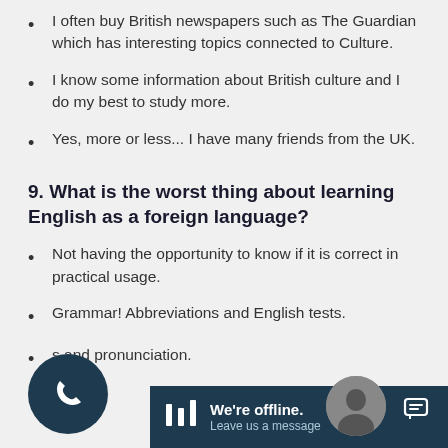I often buy British newspapers such as The Guardian which has interesting topics connected to Culture.
I know some information about British culture and I do my best to study more.
Yes, more or less... I have many friends from the UK.
9. What is the worst thing about learning English as a foreign language?
Not having the opportunity to know if it is correct in practical usage.
Grammar! Abbreviations and English tests.
…s and pronunciation.